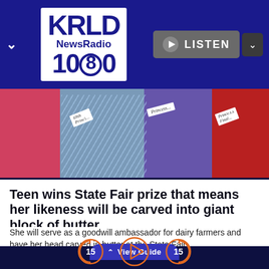[Figure (logo): KRLD NewsRadio 1080 logo in white box on dark blue navigation bar with LISTEN button]
[Figure (photo): Photo of several women wearing pageant sashes reading '69th Princess', 'Princess', and 'Princess Finalist' at a State Fair event]
Teen wins State Fair prize that means her likeness will be carved into giant block of butter
She will serve as a goodwill ambassador for dairy farmers and have her head carved in butter at the State Fair
[Figure (screenshot): View Guide button tab and audio transport controls (rewind 15, play, forward 15) on dark navy background]